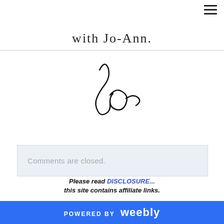[Figure (illustration): Hamburger menu icon (three horizontal lines) in top-right corner]
[Figure (illustration): Handwritten cursive text partially visible at top, appearing to say something like 'with love, Jo-Ann.']
[Figure (illustration): Handwritten cursive signature initials 'Jo' in black ink]
Comments are closed.
Please read DISCLOSURE... this site contains affiliate links.
POWERED BY weebly